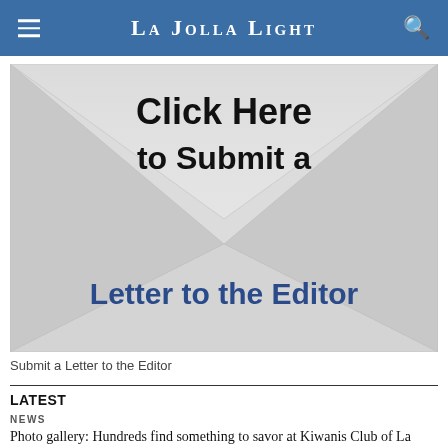La Jolla Light
[Figure (illustration): An envelope graphic with 'Click Here to Submit a Letter to the Editor' text overlaid on it. The envelope is light gray with a triangular flap fold at the top center. 'Click Here to Submit a' is in bold black text at the top, and 'Letter to the Editor' is in large bold dark blue text at the bottom of the envelope.]
Submit a Letter to the Editor
LATEST
NEWS
Photo gallery: Hundreds find something to savor at Kiwanis Club of La Jolla's annual pancake breakfast